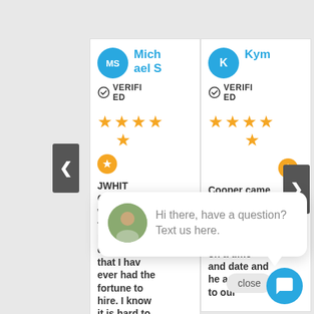[Figure (screenshot): Review cards for Michael S (verified, 4.5 stars) and Kym (verified, 4.5 stars) with review text, navigation arrows, close button, chat popup overlay, and chat bubble button]
Michael S
VERIFIED
JWHIT Construction was one of the most professional companies that I have ever had the fortune to hire. I know it is hard to find a company to not only be
Kym
VERIFIED
Cooper came to evaluate our needs for our project. We agreed on a time and date and he adjusted to our
Hi there, have a question? Text us here.
close